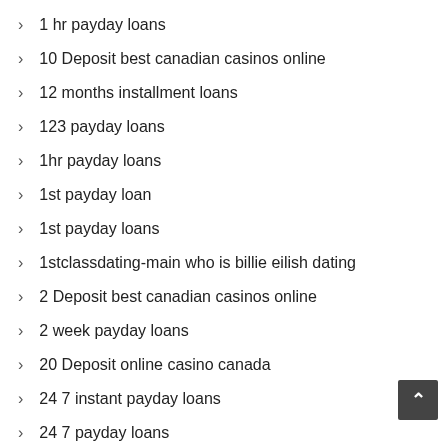1 hr payday loans
10 Deposit best canadian casinos online
12 months installment loans
123 payday loans
1hr payday loans
1st payday loan
1st payday loans
1stclassdating-main who is billie eilish dating
2 Deposit best canadian casinos online
2 week payday loans
20 Deposit online casino canada
24 7 instant payday loans
24 7 payday loans
24 hour online payday loans
24 hr payday loans